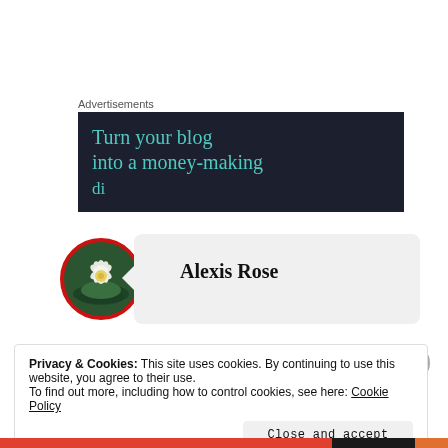Advertisements
[Figure (illustration): Dark navy advertisement banner with teal text reading 'Turn your blog into a money-making' (text partially cut off)]
[Figure (photo): Circular avatar with red border showing a white lotus flower on a dark green water background, next to a speech bubble with the name Alexis Rose]
Alexis Rose
Privacy & Cookies: This site uses cookies. By continuing to use this website, you agree to their use.
To find out more, including how to control cookies, see here: Cookie Policy
Close and accept